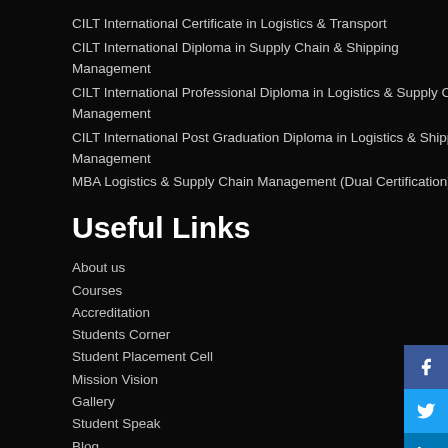CILT International Certificate in Logistics & Transport
CILT International Diploma in Supply Chain & Shipping Management
CILT International Professional Diploma in Logistics & Supply Chain Management
CILT International Post Graduation Diploma in Logistics & Shipping Management
MBA Logistics & Supply Chain Management (Dual Certification)
Useful Links
About us
Courses
Accreditation
Students Corner
Student Placement Cell
Mission Vision
Gallery
Student Speak
Blog